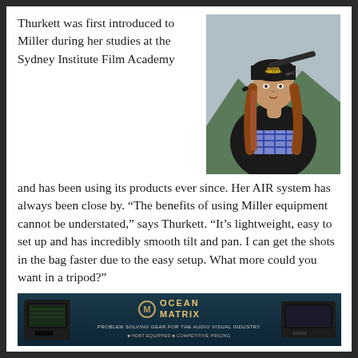Thurkett was first introduced to Miller during her studies at the Sydney Institute Film Academy and has been using its products ever since. Her AIR system has always been close by. “The benefits of using Miller equipment cannot be understated,” says Thurkett. “It’s lightweight, easy to set up and has incredibly smooth tilt and pan. I can get the shots in the bag faster due to the easy setup. What more could you want in a tripod?”
[Figure (photo): Young woman with long red hair wearing a beanie and dark jacket, holding a Miller tripod on her shoulder, outdoors with mountains in the background.]
[Figure (photo): Ocean Matrix advertisement banner: 'Problem Solving Gear for the Audio Visual Industry. HDBT Equipped. Competitive Pricing.']